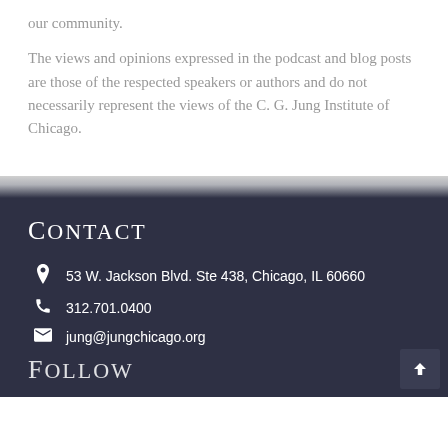our community.
The views and opinions expressed in the podcast and blog posts are those of the respected speakers or authors and do not necessarily represent the views of the C. G. Jung Institute of Chicago.
Contact
53 W. Jackson Blvd. Ste 438, Chicago, IL 60660
312.701.0400
jung@jungchicago.org
Follow